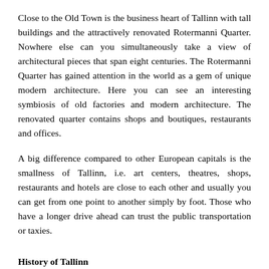Close to the Old Town is the business heart of Tallinn with tall buildings and the attractively renovated Rotermanni Quarter. Nowhere else can you simultaneously take a view of architectural pieces that span eight centuries. The Rotermanni Quarter has gained attention in the world as a gem of unique modern architecture. Here you can see an interesting symbiosis of old factories and modern architecture. The renovated quarter contains shops and boutiques, restaurants and offices.
A big difference compared to other European capitals is the smallness of Tallinn, i.e. art centers, theatres, shops, restaurants and hotels are close to each other and usually you can get from one point to another simply by foot. Those who have a longer drive ahead can trust the public transportation or taxies.
History of Tallinn
Ancient Estonians called Tallinn Lindanise, which was derived from the name of Linda, the wife of the national epic hero Kalev. Russians called the place Kolyvan, the Germans Reval. Tallinn comes from the Estonian language name for the town, which was Taani linn (Danish castle), as the Danes were the first to...